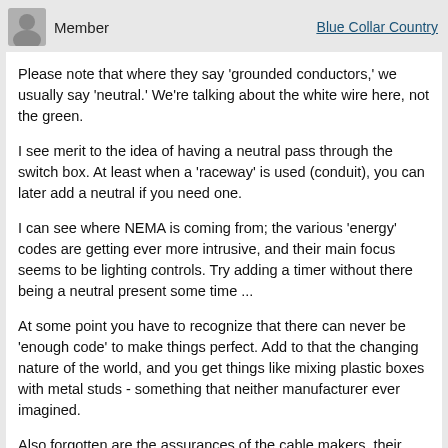Member | Blue Collar Country
Please note that where they say 'grounded conductors,' we usually say 'neutral.' We're talking about the white wire here, not the green.
I see merit to the idea of having a neutral pass through the switch box. At least when a 'raceway' is used (conduit), you can later add a neutral if you need one.
I can see where NEMA is coming from; the various 'energy' codes are getting ever more intrusive, and their main focus seems to be lighting controls. Try adding a timer without there being a neutral present some time ...
At some point you have to recognize that there can never be 'enough code' to make things perfect. Add to that the changing nature of the world, and you get things like mixing plastic boxes with metal studs - something that neither manufacturer ever imagined.
Also forgotten are the assurances of the cable makers, their stipulation that they KNEW their product was very limited, and was thus intended only for very simple, conventional, mass-market uses - things like wiring Archie Bunkers' bungalow. Those products were